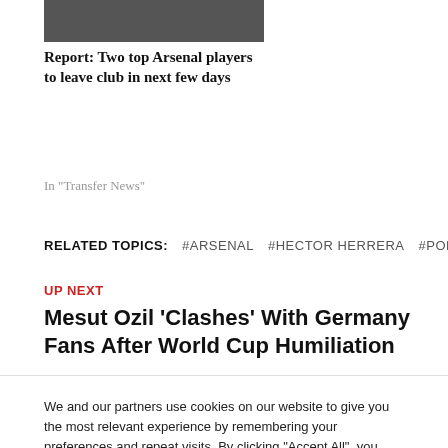[Figure (photo): Cropped photo of Arsenal players/manager, dark background]
Report: Two top Arsenal players to leave club in next few days
In "Transfer News"
RELATED TOPICS: #ARSENAL #HECTOR HERRERA #PORTO
UP NEXT
Mesut Ozil ‘Clashes’ With Germany Fans After World Cup Humiliation
We and our partners use cookies on our website to give you the most relevant experience by remembering your preferences and repeat visits. By clicking “Accept All”, you consent to the use of ALL the cookies. However, you may visit "Cookie Settings" to provide a controlled consent.